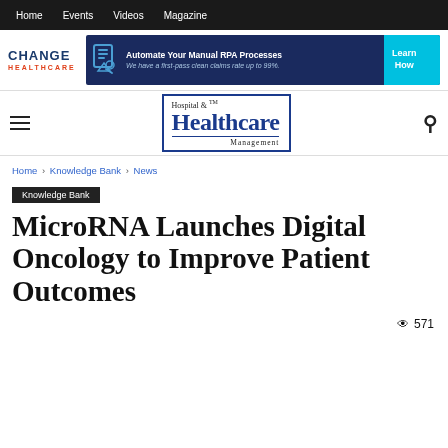Home  Events  Videos  Magazine
[Figure (logo): Change Healthcare logo and advertisement banner: Automate Your Manual RPA Processes. We have a first-pass clean claims rate up to 99%. Learn How]
[Figure (logo): Hospital & Healthcare Management magazine logo]
Home › Knowledge Bank › News
Knowledge Bank
MicroRNA Launches Digital Oncology to Improve Patient Outcomes
571 views